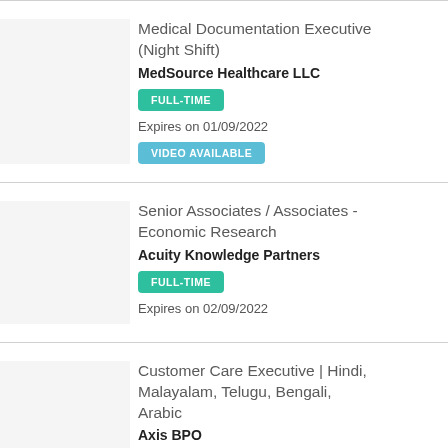Medical Documentation Executive (Night Shift)
MedSource Healthcare LLC
FULL-TIME
Expires on 01/09/2022
VIDEO AVAILABLE
Senior Associates / Associates - Economic Research
Acuity Knowledge Partners
FULL-TIME
Expires on 02/09/2022
Customer Care Executive | Hindi, Malayalam, Telugu, Bengali, Arabic
Axis BPO